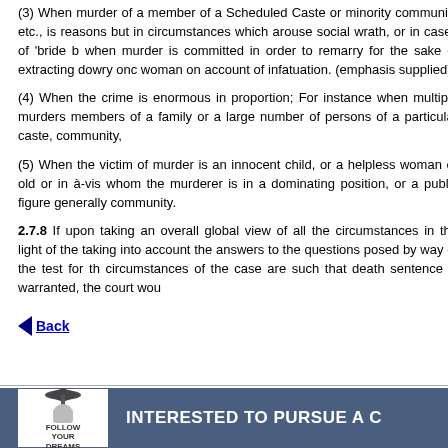(3) When murder of a member of a Scheduled Caste or minority community etc., is reasons but in circumstances which arouse social wrath, or in cases of 'bride b when murder is committed in order to remarry for the sake of extracting dowry onc woman on account of infatuation. (emphasis supplied)
(4) When the crime is enormous in proportion; For instance when multiple murders members of a family or a large number of persons of a particular caste, community,
(5) When the victim of murder is an innocent child, or a helpless woman or old or in à-vis whom the murderer is in a dominating position, or a public figure generally community.
2.7.8 If upon taking an overall global view of all the circumstances in the light of the taking into account the answers to the questions posed by way of the test for th circumstances of the case are such that death sentence is warranted, the court wou
Back
[Figure (infographic): Blue banner with 'Follow Your Dreams' logo on left and text 'INTERESTED TO PURSUE A C' on right in white bold letters]